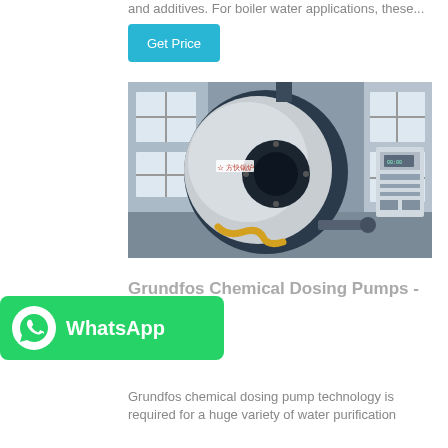and additives. For boiler water applications, these...
Get Price
[Figure (photo): Industrial fire-tube boiler in a factory setting, showing a large cylindrical drum with black and metallic silver casing, a control panel cabinet on the right, and yellow flexible hose at the bottom. Chinese text logo visible on the boiler front.]
Grundfos Chemical Dosing Pumps - Inc.
[Figure (logo): WhatsApp green rounded rectangle button with phone handset icon and 'WhatsApp' text in white]
Grundfos chemical dosing pump technology is required for a huge variety of water purification